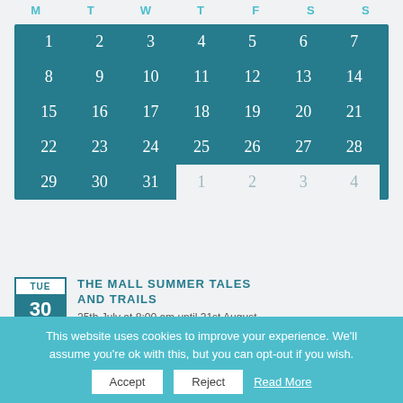| M | T | W | T | F | S | S |
| --- | --- | --- | --- | --- | --- | --- |
| 1 | 2 | 3 | 4 | 5 | 6 | 7 |
| 8 | 9 | 10 | 11 | 12 | 13 | 14 |
| 15 | 16 | 17 | 18 | 19 | 20 | 21 |
| 22 | 23 | 24 | 25 | 26 | 27 | 28 |
| 29 | 30 | 31 | 1 | 2 | 3 | 4 |
THE MALL SUMMER TALES AND TRAILS
25th July at 8:00 am until 31st August
This website uses cookies to improve your experience. We'll assume you're ok with this, but you can opt-out if you wish.